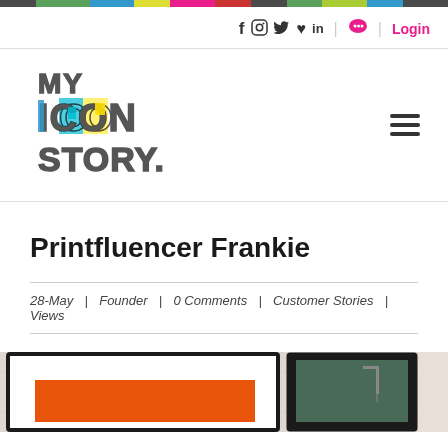Color bar navigation stripe
f  ○  ✓  ♀  in  ☺  |  Login
[Figure (logo): My Icon Story logo with colorful letters]
Printfluencer Frankie
28-May  |  Founder  |  0 Comments  |  Customer Stories  |  Views
[Figure (photo): Framed print artworks on a white brick wall background]